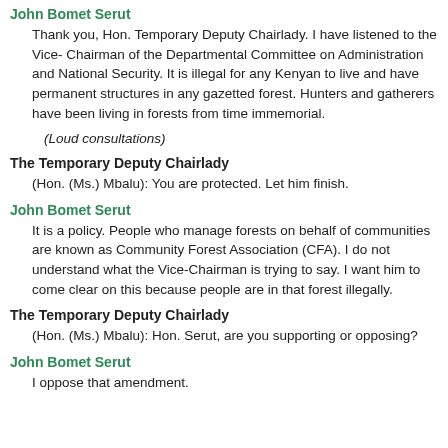John Bomet Serut
Thank you, Hon. Temporary Deputy Chairlady. I have listened to the Vice- Chairman of the Departmental Committee on Administration and National Security. It is illegal for any Kenyan to live and have permanent structures in any gazetted forest. Hunters and gatherers have been living in forests from time immemorial.
(Loud consultations)
The Temporary Deputy Chairlady
(Hon. (Ms.) Mbalu): You are protected. Let him finish.
John Bomet Serut
It is a policy. People who manage forests on behalf of communities are known as Community Forest Association (CFA). I do not understand what the Vice-Chairman is trying to say. I want him to come clear on this because people are in that forest illegally.
The Temporary Deputy Chairlady
(Hon. (Ms.) Mbalu): Hon. Serut, are you supporting or opposing?
John Bomet Serut
I oppose that amendment.